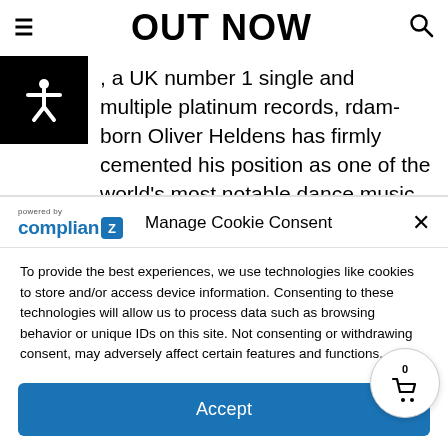OUT NOW
, a UK number 1 single and multiple platinum records, rdam-born Oliver Heldens has firmly cemented his position as one of the world's most notable dance music superstars.
Manage Cookie Consent
To provide the best experiences, we use technologies like cookies to store and/or access device information. Consenting to these technologies will allow us to process data such as browsing behavior or unique IDs on this site. Not consenting or withdrawing consent, may adversely affect certain features and functions.
Accept
Cookie Policy  Privacy Statement  Imprint